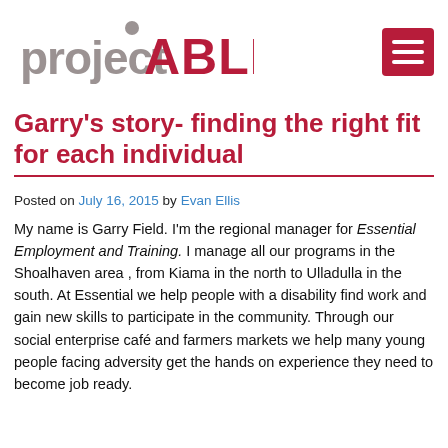[Figure (logo): Project ABLE logo with 'project' in grey grunge font and 'ABLE' in bold red, plus a hamburger menu button in red on the right]
Garry's story- finding the right fit for each individual
Posted on July 16, 2015 by Evan Ellis
My name is Garry Field. I'm the regional manager for Essential Employment and Training. I manage all our programs in the Shoalhaven area , from Kiama in the north to Ulladulla in the south. At Essential we help people with a disability find work and gain new skills to participate in the community. Through our social enterprise café and farmers markets we help many young people facing adversity get the hands on experience they need to become job ready.